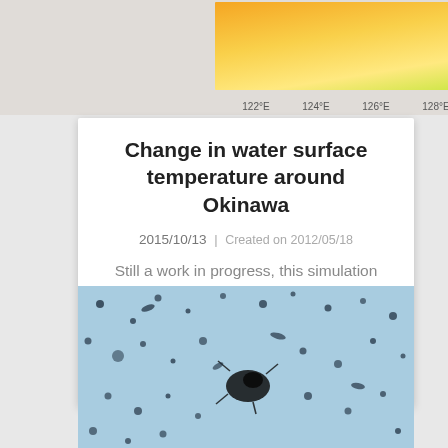[Figure (map): Partial view of a water surface temperature map around Okinawa showing color gradient (yellow-orange) with longitude labels 122°E, 124°E, 126°E, 128°E and a color scale bar on the right (14-16). Label reads 'Time Step: 0001'.]
Change in water surface temperature around Okinawa
2015/10/13 | Created on 2012/05/18
Still a work in progress, this simulation shows changes in water surface temperature around Okinawa. This simulation attempts to assess coral larval d...
[Figure (photo): Microscope photo on blue background showing small dark organisms (coral larvae and other particles) scattered across the field of view, with a cluster of dark material in the center.]